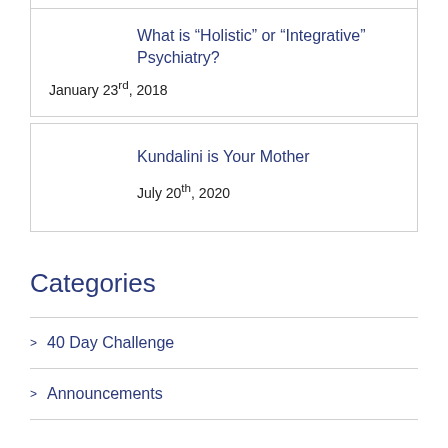What is “Holistic” or “Integrative” Psychiatry?
January 23rd, 2018
Kundalini is Your Mother
July 20th, 2020
Categories
40 Day Challenge
Announcements